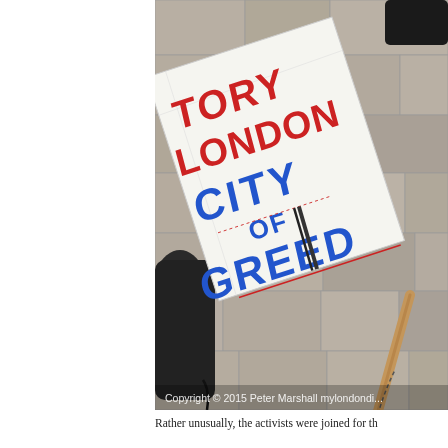[Figure (photo): A protest placard lying on stone pavement. The sign reads 'TORY LONDON CITY OF GREED' in red and blue hand-drawn lettering on white paper, attached to a wooden stick. A dark bag and a person's shoe are visible in the background. Copyright watermark reads 'Copyright © 2015 Peter Marshall mylondondi...' at the bottom of the image.]
Rather unusually, the activists were joined for th